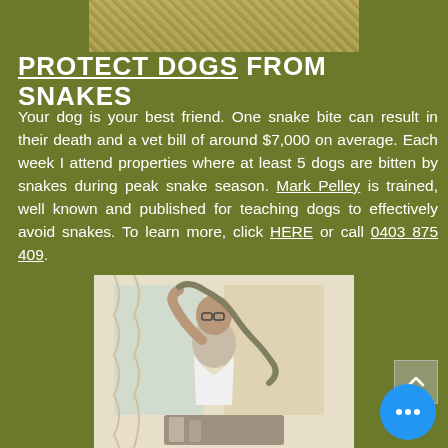[Figure (photo): Top portion of outdoor photo showing grass/yard with yellow flowers]
PROTECT DOGS FROM SNAKES
Your dog is your best friend. One snake bite can result in their death and a vet bill of around $7,000 on average. Each week I attend properties where at least 5 dogs are bitten by snakes during peak snake season. Mark Pelley is trained, well known and published for teaching dogs to effectively avoid snakes. To learn more, click HERE or call 0403 875 409.
[Figure (photo): Man holding a snake up in the air inside a room with curtains]